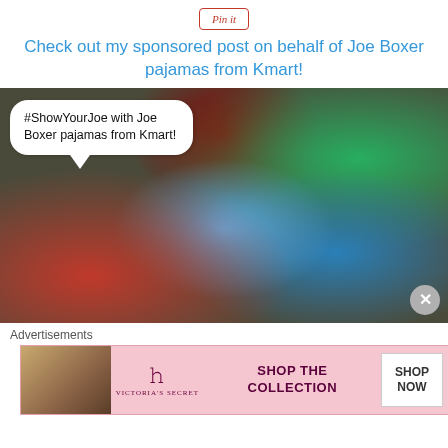[Figure (screenshot): Pin it button]
Check out my sponsored post on behalf of Joe Boxer pajamas from Kmart!
[Figure (photo): A woman in red pajamas and two children in front of a Christmas tree. A speech bubble reads: #ShowYourJoe with Joe Boxer pajamas from Kmart!]
Advertisements
[Figure (screenshot): Victoria's Secret advertisement: SHOP THE COLLECTION - SHOP NOW]